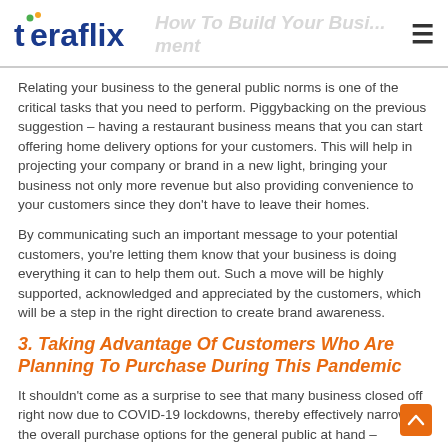teraflix
Relating your business to the general public norms is one of the critical tasks that you need to perform. Piggybacking on the previous suggestion – having a restaurant business means that you can start offering home delivery options for your customers. This will help in projecting your company or brand in a new light, bringing your business not only more revenue but also providing convenience to your customers since they don't have to leave their homes.
By communicating such an important message to your potential customers, you're letting them know that your business is doing everything it can to help them out. Such a move will be highly supported, acknowledged and appreciated by the customers, which will be a step in the right direction to create brand awareness.
3. Taking Advantage Of Customers Who Are Planning To Purchase During This Pandemic
It shouldn't come as a surprise to see that many business closed off right now due to COVID-19 lockdowns, thereby effectively narrowing the overall purchase options for the general public at hand – especially those who require goods &